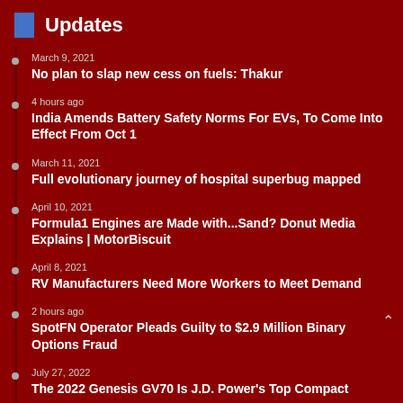Updates
March 9, 2021
No plan to slap new cess on fuels: Thakur
4 hours ago
India Amends Battery Safety Norms For EVs, To Come Into Effect From Oct 1
March 11, 2021
Full evolutionary journey of hospital superbug mapped
April 10, 2021
Formula1 Engines are Made with...Sand? Donut Media Explains | MotorBiscuit
April 8, 2021
RV Manufacturers Need More Workers to Meet Demand
2 hours ago
SpotFN Operator Pleads Guilty to $2.9 Million Binary Options Fraud
July 27, 2022
The 2022 Genesis GV70 Is J.D. Power's Top Compact